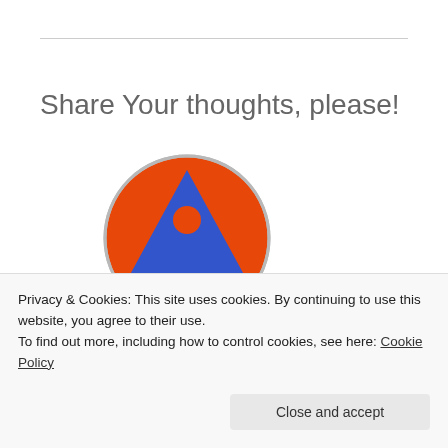Share Your thoughts, please!
[Figure (logo): Circular orange logo with a blue inverted triangle, a small orange circle inside the triangle, and a smaller blue triangle at the bottom, sitting on top of a dark purple cloud shape with a gray outline.]
Privacy & Cookies: This site uses cookies. By continuing to use this website, you agree to their use.
To find out more, including how to control cookies, see here: Cookie Policy
Close and accept